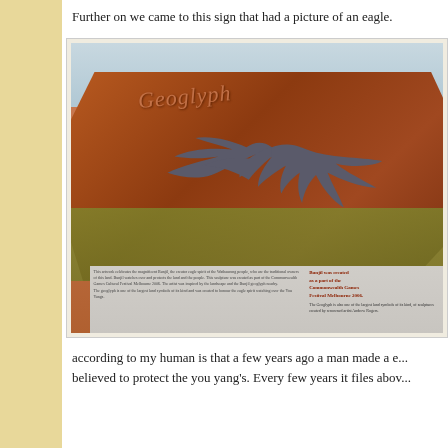Further on we came to this sign that had a picture of an eagle.
[Figure (photo): Photo of a large rust-colored metal Geoglyph sign with a steel eagle silhouette cutout, with an information board at the bottom. The sign is set in an outdoor landscape with green ground cover and a cloudy sky.]
according to my human is that a few years ago a man made a e... believed to protect the you yang's. Every few years it files abov...